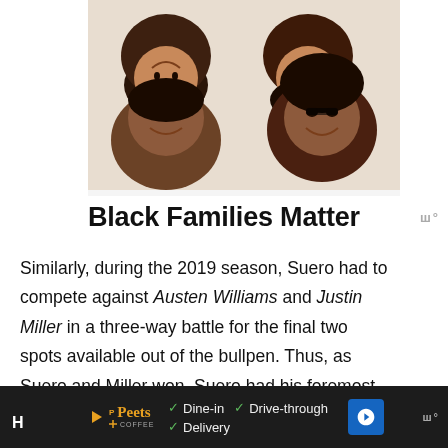[Figure (photo): Four Black family members lying down together, smiling, viewed from above]
Black Families Matter
Similarly, during the 2019 season, Suero had to compete against Austen Williams and Justin Miller in a three-way battle for the final two spots available out of the bullpen. Thus, as Suero and Miller won, Suero had his foremost save of the season only in June against the Braves.
[Figure (screenshot): Footer advertisement bar showing Peets Coffee ad with Dine-in, Drive-through, Delivery options and a blue navigation arrow button]